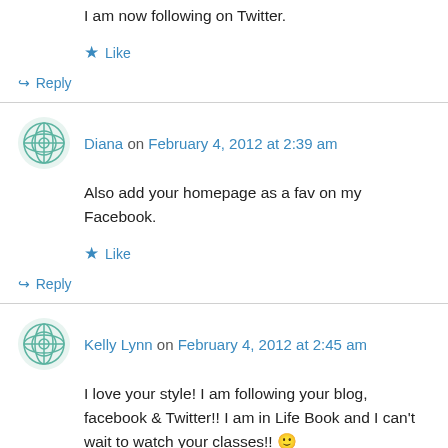I am now following on Twitter.
★ Like
↪ Reply
Diana on February 4, 2012 at 2:39 am
Also add your homepage as a fav on my Facebook.
★ Like
↪ Reply
Kelly Lynn on February 4, 2012 at 2:45 am
I love your style! I am following your blog, facebook & Twitter!! I am in Life Book and I can't wait to watch your classes!! 🙂